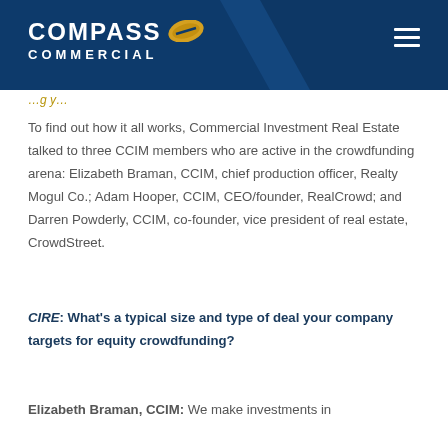Compass Commercial
To find out how it all works, Commercial Investment Real Estate talked to three CCIM members who are active in the crowdfunding arena: Elizabeth Braman, CCIM, chief production officer, Realty Mogul Co.; Adam Hooper, CCIM, CEO/founder, RealCrowd; and Darren Powderly, CCIM, co-founder, vice president of real estate, CrowdStreet.
CIRE: What's a typical size and type of deal your company targets for equity crowdfunding?
Elizabeth Braman, CCIM: We make investments in